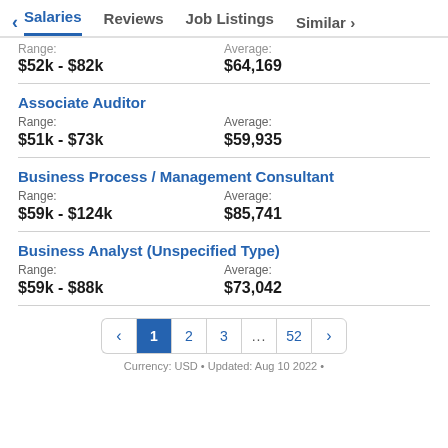< Salaries | Reviews | Job Listings | Similar >
Range: $52k - $82k   Average: $64,169
Associate Auditor
Range: $51k - $73k   Average: $59,935
Business Process / Management Consultant
Range: $59k - $124k   Average: $85,741
Business Analyst (Unspecified Type)
Range: $59k - $88k   Average: $73,042
Pagination: < 1 2 3 ... 52 >
Currency: USD • Updated: Aug 10 2022 •